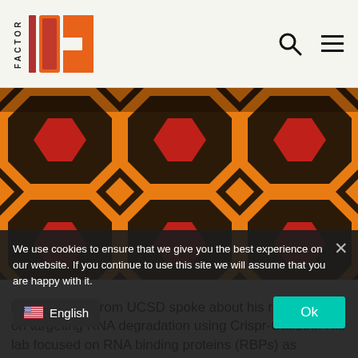FACTOR h (logo)
[Figure (photo): Close-up photo of a geometric carpet pattern with orange, dark brown, and red hexagonal/octagonal tessellating shapes, resembling the carpet from 'The Shining'.]
Dr. Gene Yeo from UCSD spoke about his recent work on targeting RNA degradation using Crispr-Cas13d. His lab focused on RNA binding proteins (RBPs) as regulators of gene expression and developed methods to systematically study RBP functions, such as the enhanced eCLIP method, which his lab has done to chara…
We use cookies to ensure that we give you the best experience on our website. If you continue to use this site we will assume that you are happy with it.